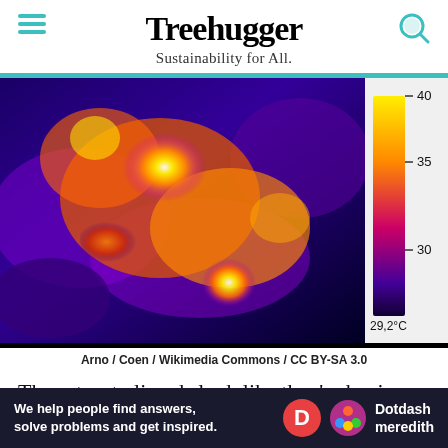Treehugger — Sustainability for All.
[Figure (photo): Thermal infrared image of lizards on warm rocks, showing heat map with color scale from purple/blue (cool ~29°C) to white/yellow (warm ~40°C). A temperature colorbar on the right shows scale: 40, 35, 30, 29.2°C.]
Arno / Coen / Wikimedia Commons / CC BY-SA 3.0
These toasty lizards look like they're having a great time lounging on some very warm rocks. Lizards thrive in...
[Figure (other): Dotdash Meredith advertisement banner: 'We help people find answers, solve problems and get inspired.']